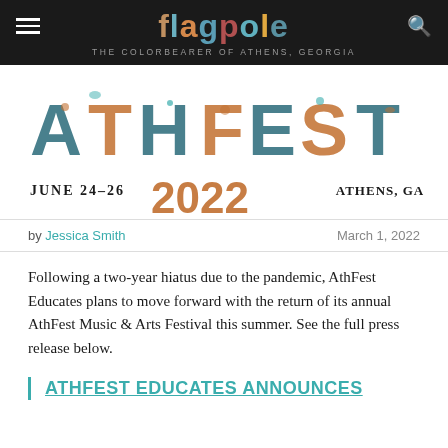flagpole — THE COLORBEARER OF ATHENS, GEORGIA
[Figure (illustration): AthFest 2022 festival logo with colorful illustrated lettering. Text reads: ATHFEST, June 24-26, 2022, Athens, GA. Letters decorated with folk-art creature illustrations in teal, orange, and dark brown.]
by Jessica Smith   March 1, 2022
Following a two-year hiatus due to the pandemic, AthFest Educates plans to move forward with the return of its annual AthFest Music & Arts Festival this summer. See the full press release below.
ATHFEST EDUCATES ANNOUNCES